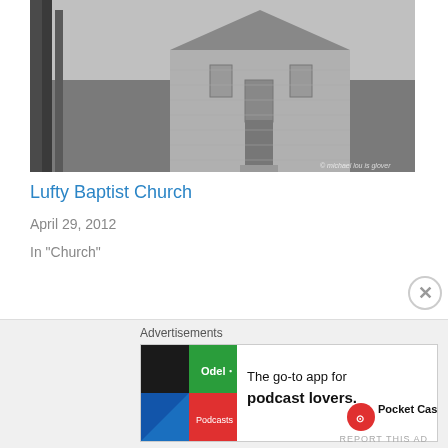[Figure (photo): Black and white photo of Lufty Baptist Church partially visible through bare trees in a wooded setting]
Lufty Baptist Church
April 29, 2012
In "Church"
[Figure (photo): Color photo of an old two-story rustic wooden building against a dramatic sunset sky with orange and red clouds, surrounded by green trees and grass]
Advertisements
[Figure (other): Pocket Casts advertisement: The go-to app for podcast lovers.]